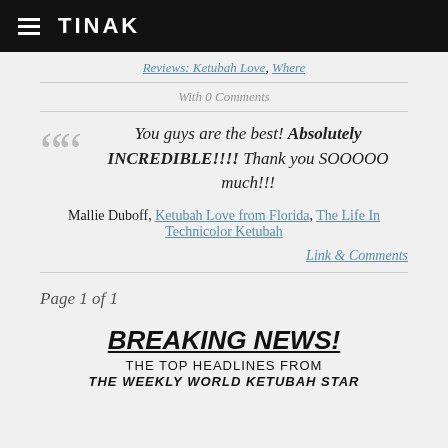TINAK
Reviews: Ketubah Love, Where
With 0 Comments
You guys are the best! Absolutely INCREDIBLE!!!! Thank you SOOOOO much!!!
Mallie Duboff, Ketubah Love from Florida, The Life In Technicolor Ketubah
Link & Comments
Page 1 of 1
BREAKING NEWS!
THE TOP HEADLINES FROM
THE WEEKLY WORLD KETUBAH STAR